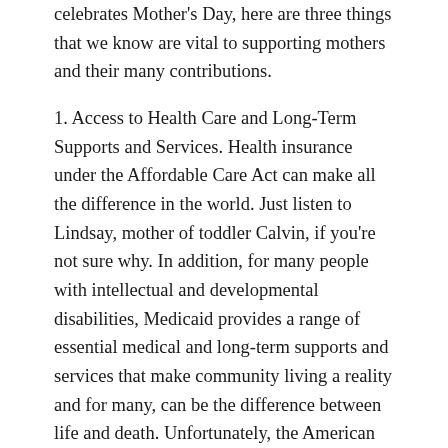celebrates Mother's Day, here are three things that we know are vital to supporting mothers and their many contributions.
1. Access to Health Care and Long-Term Supports and Services. Health insurance under the Affordable Care Act can make all the difference in the world. Just listen to Lindsay, mother of toddler Calvin, if you're not sure why. In addition, for many people with intellectual and developmental disabilities, Medicaid provides a range of essential medical and long-term supports and services that make community living a reality and for many, can be the difference between life and death. Unfortunately, the American Health Care Act (AHCA) — passed recently by the House of